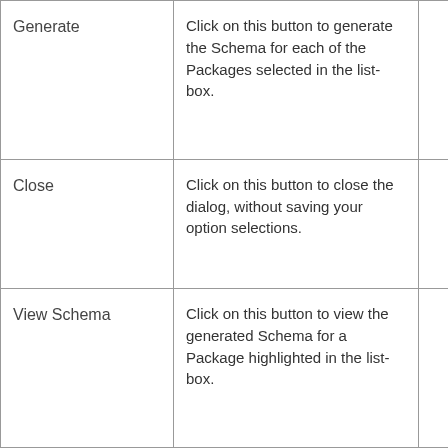| Generate | Click on this button to generate the Schema for each of the Packages selected in the list-box. |  |
| Close | Click on this button to close the dialog, without saving your option selections. |  |
| View Schema | Click on this button to view the generated Schema for a Package highlighted in the list-box. |  |